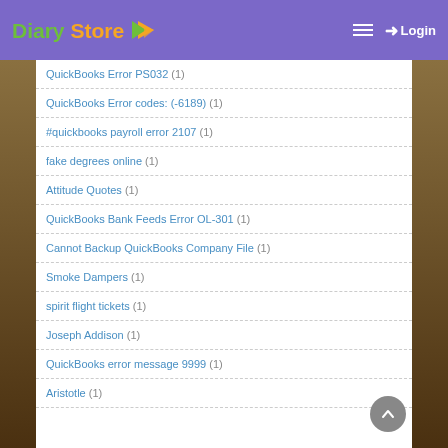Diary Store — Login
QuickBooks Error PS032 (1)
QuickBooks Error codes: (-6189) (1)
#quickbooks payroll error 2107 (1)
fake degrees online (1)
Attitude Quotes (1)
QuickBooks Bank Feeds Error OL-301 (1)
Cannot Backup QuickBooks Company File (1)
Smoke Dampers (1)
spirit flight tickets (1)
Joseph Addison (1)
QuickBooks error message 9999 (1)
Aristotle (1)